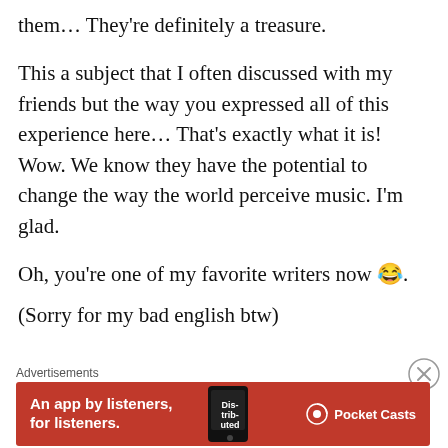them... They're definitely a treasure.
This a subject that I often discussed with my friends but the way you expressed all of this experience here... That's exactly what it is! Wow. We know they have the potential to change the way the world perceive music. I'm glad.
Oh, you're one of my favorite writers now 😂.
(Sorry for my bad english btw)
Advertisements
[Figure (infographic): Red advertisement banner for Pocket Casts app with text 'An app by listeners, for listeners.' and Pocket Casts logo on right, phone image in center]